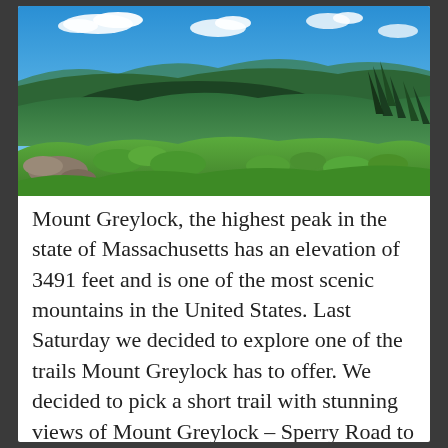[Figure (photo): Panoramic landscape photo taken from Mount Greylock summit area showing a wide valley with green rolling hills, forested mountains, and a small town visible below under a blue sky with scattered white clouds. Foreground shows green shrubs and rocky terrain. Evergreen trees visible on the right side.]
Mount Greylock, the highest peak in the state of Massachusetts has an elevation of 3491 feet and is one of the most scenic mountains in the United States. Last Saturday we decided to explore one of the trails Mount Greylock has to offer. We decided to pick a short trail with stunning views of Mount Greylock – Sperry Road to Stony Ledge Trail located near Adams, Massachusetts. It takes approximately 3 hours to reach the trail from Boston but is so worth it.